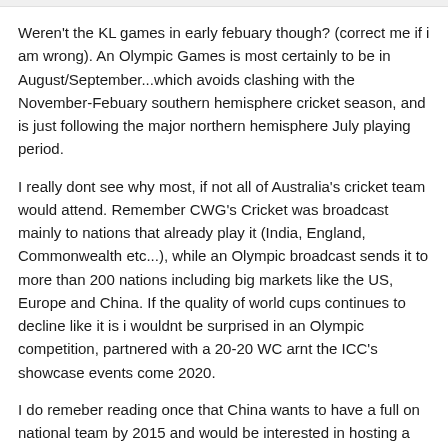Weren't the KL games in early febuary though? (correct me if i am wrong). An Olympic Games is most certainly to be in August/September...which avoids clashing with the November-Febuary southern hemisphere cricket season, and is just following the major northern hemisphere July playing period.
I really dont see why most, if not all of Australia's cricket team would attend. Remember CWG's Cricket was broadcast mainly to nations that already play it (India, England, Commonwealth etc...), while an Olympic broadcast sends it to more than 200 nations including big markets like the US, Europe and China. If the quality of world cups continues to decline like it is i wouldnt be surprised in an Olympic competition, partnered with a 20-20 WC arnt the ICC's showcase events come 2020.
I do remeber reading once that China wants to have a full on national team by 2015 and would be interested in hosting a WC.
baron-pierreIV